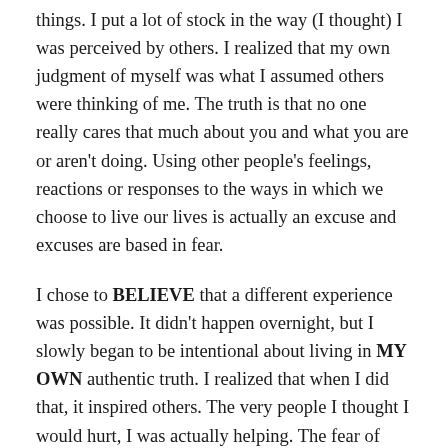things. I put a lot of stock in the way (I thought) I was perceived by others. I realized that my own judgment of myself was what I assumed others were thinking of me. The truth is that no one really cares that much about you and what you are or aren't doing. Using other people's feelings, reactions or responses to the ways in which we choose to live our lives is actually an excuse and excuses are based in fear.
I chose to BELIEVE that a different experience was possible. It didn't happen overnight, but I slowly began to be intentional about living in MY OWN authentic truth. I realized that when I did that, it inspired others. The very people I thought I would hurt, I was actually helping. The fear of offending became a love of empowering.